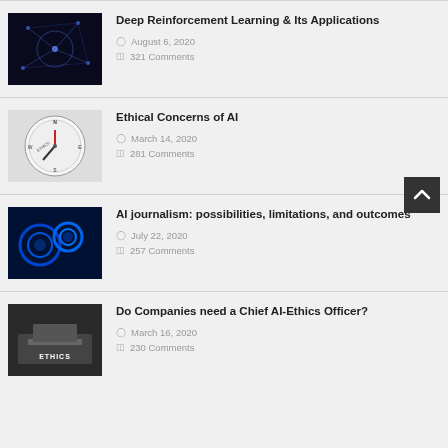Deep Reinforcement Learning & Its Applications
August 6, 2020
321 Comments
Ethical Concerns of AI
March 14, 2020
281 Comments
AI journalism: possibilities, limitations, and outcomes
July 22, 2020
257 Comments
Do Companies need a Chief AI-Ethics Officer?
March 16, 2020
230 Comments